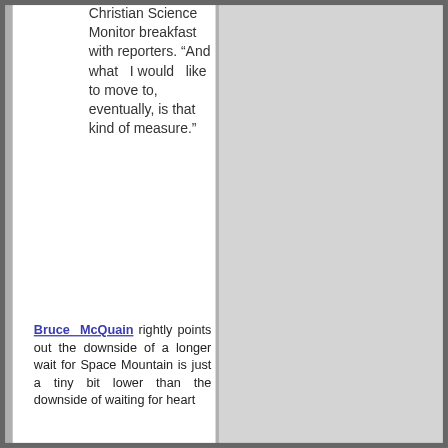Christian Science Monitor breakfast with reporters. “And what I would like to move to, eventually, is that kind of measure.”
Bruce McQuain rightly points out the downside of a longer wait for Space Mountain is just a tiny bit lower than the downside of waiting for heart